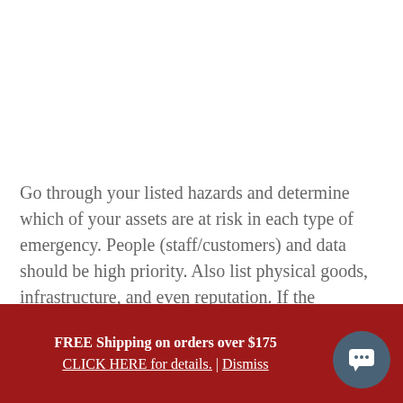Go through your listed hazards and determine which of your assets are at risk in each type of emergency. People (staff/customers) and data should be high priority. Also list physical goods, infrastructure, and even reputation. If the environment may be impacted by an emergency (a dangerous chemical spill for example) include this in your
FREE Shipping on orders over $175
CLICK HERE for details. | Dismiss